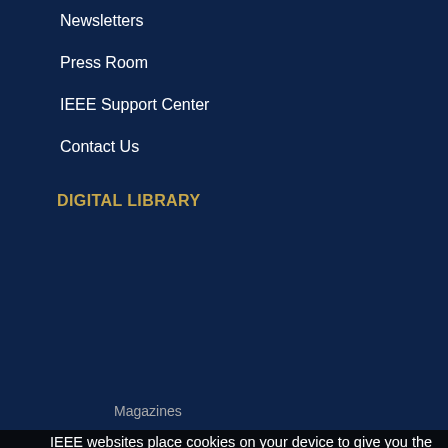Newsletters
Press Room
IEEE Support Center
Contact Us
DIGITAL LIBRARY
Magazines
IEEE websites place cookies on your device to give you the best user experience. By using our websites, you agree to the placement of these cookies. To learn more, read our  Privacy Policy.
COMPUTING RESOURCES
obs Board
Accept & Close
Courses & Certifications
Webinars